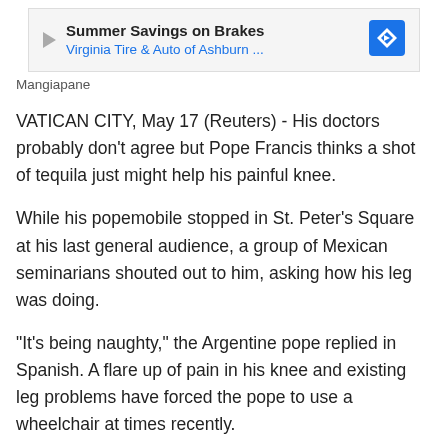[Figure (other): Advertisement banner: 'Summer Savings on Brakes' from Virginia Tire & Auto of Ashburn ... with a play button icon on the left and a blue diamond navigation icon on the right]
Mangiapane
VATICAN CITY, May 17 (Reuters) - His doctors probably don't agree but Pope Francis thinks a shot of tequila just might help his painful knee.
While his popemobile stopped in St. Peter's Square at his last general audience, a group of Mexican seminarians shouted out to him, asking how his leg was doing.
"It's being naughty," the Argentine pope replied in Spanish. A flare up of pain in his knee and existing leg problems have forced the pope to use a wheelchair at times recently.